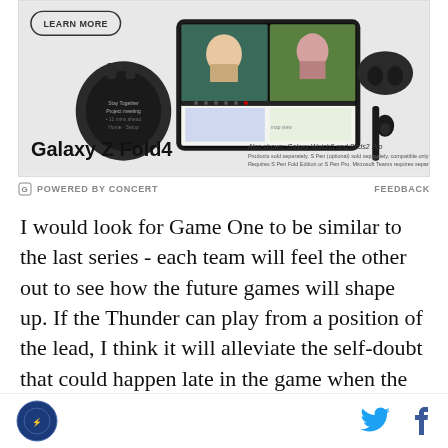[Figure (photo): Samsung Galaxy Z Fold4 advertisement showing the phone open with a video call, alongside a Galaxy Watch5 and Buds2 Pro. Includes LEARN MORE button and product disclaimers. Text: 'Galaxy Z Fold4', 'Also shown: Galaxy Watch5 and Buds2 Pro', 'Products sold separately. S Pen (optional) sold separately, compatible only with main display. Requires S Pen Fold Edition or S Pen Pro. Microsoft Teams requires separate download.']
POWERED BY CONCERT    FEEDBACK
I would look for Game One to be similar to the last series - each team will feel the other out to see how the future games will shape up. If the Thunder can play from a position of the lead, I think it will alleviate the self-doubt that could happen late in the game when the Grizzlies will always be within striking distance. Let's hope we're in for another Game One treat.